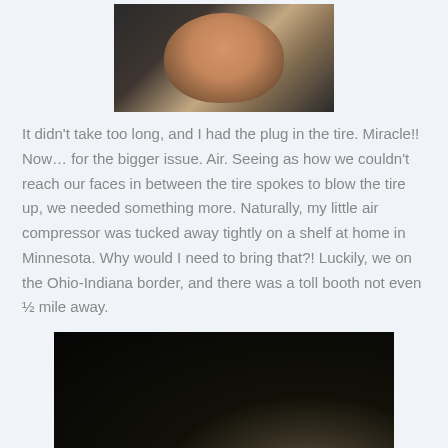[Figure (photo): Photo of a smiling woman lying down, appears to be taken at night or in low light, dark background]
It didn’t take too long, and I had the plug in the tire. Miracle!! Now… for the bigger issue. Air. Seeing as how we couldn’t reach our faces in between the tire spokes to blow the tire up, we needed something more. Naturally, my little air compressor was tucked away tightly on a shelf at home in Minnesota. Why would I need to bring that?! Luckily, we on the Ohio-Indiana border, and there was a toll booth not even ½ mile away.
[Figure (photo): Very dark nighttime photo with a faint light source visible at the bottom right, likely taken on a road or highway at night]